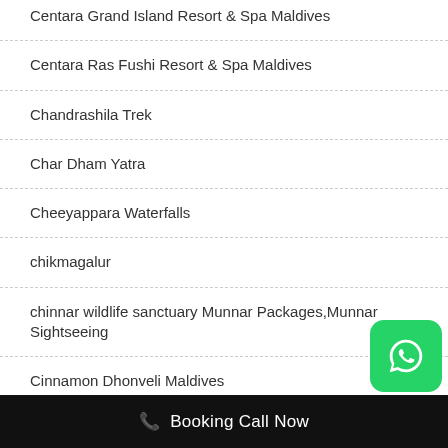Centara Grand Island Resort & Spa Maldives
Centara Ras Fushi Resort & Spa Maldives
Chandrashila Trek
Char Dham Yatra
Cheeyappara Waterfalls
chikmagalur
chinnar wildlife sanctuary Munnar Packages,Munnar Sightseeing
Cinnamon Dhonveli Maldives
Booking Call Now